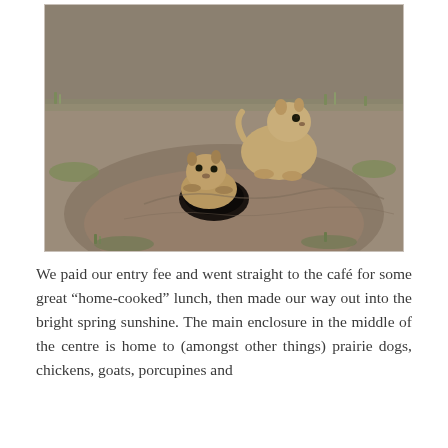[Figure (photo): Two prairie dogs near their burrow entrance in a mound of dirt and sparse grass. One prairie dog is positioned above and looking toward the camera, while the other is emerging from or near the burrow hole. The ground is mostly bare earth with patches of green grass.]
We paid our entry fee and went straight to the café for some great “home-cooked” lunch, then made our way out into the bright spring sunshine. The main enclosure in the middle of the centre is home to (amongst other things) prairie dogs, chickens, goats, porcupines and